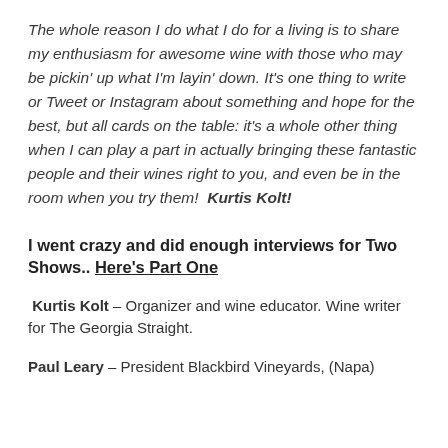The whole reason I do what I do for a living is to share my enthusiasm for awesome wine with those who may be pickin' up what I'm layin' down. It's one thing to write or Tweet or Instagram about something and hope for the best, but all cards on the table: it's a whole other thing when I can play a part in actually bringing these fantastic people and their wines right to you, and even be in the room when you try them!  Kurtis Kolt!
I went crazy and did enough interviews for Two Shows.. Here's Part One
Kurtis Kolt – Organizer and wine educator. Wine writer for The Georgia Straight.
Paul Leary – President Blackbird Vineyards, (Napa)